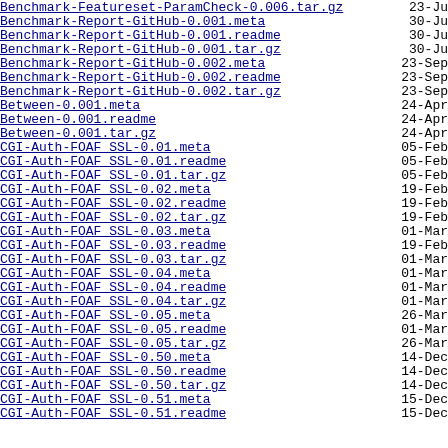Benchmark-Featureset-ParamCheck-0.006.tar.gz  23-Ju
Benchmark-Report-GitHub-0.001.meta  30-Ju
Benchmark-Report-GitHub-0.001.readme  30-Ju
Benchmark-Report-GitHub-0.001.tar.gz  30-Ju
Benchmark-Report-GitHub-0.002.meta  23-Sep
Benchmark-Report-GitHub-0.002.readme  23-Sep
Benchmark-Report-GitHub-0.002.tar.gz  23-Sep
Between-0.001.meta  24-Apr
Between-0.001.readme  24-Apr
Between-0.001.tar.gz  24-Apr
CGI-Auth-FOAF_SSL-0.01.meta  05-Feb
CGI-Auth-FOAF_SSL-0.01.readme  05-Feb
CGI-Auth-FOAF_SSL-0.01.tar.gz  05-Feb
CGI-Auth-FOAF_SSL-0.02.meta  19-Feb
CGI-Auth-FOAF_SSL-0.02.readme  19-Feb
CGI-Auth-FOAF_SSL-0.02.tar.gz  19-Feb
CGI-Auth-FOAF_SSL-0.03.meta  01-Mar
CGI-Auth-FOAF_SSL-0.03.readme  19-Feb
CGI-Auth-FOAF_SSL-0.03.tar.gz  01-Mar
CGI-Auth-FOAF_SSL-0.04.meta  01-Mar
CGI-Auth-FOAF_SSL-0.04.readme  01-Mar
CGI-Auth-FOAF_SSL-0.04.tar.gz  01-Mar
CGI-Auth-FOAF_SSL-0.05.meta  26-Mar
CGI-Auth-FOAF_SSL-0.05.readme  01-Mar
CGI-Auth-FOAF_SSL-0.05.tar.gz  26-Mar
CGI-Auth-FOAF_SSL-0.50.meta  14-Dec
CGI-Auth-FOAF_SSL-0.50.readme  14-Dec
CGI-Auth-FOAF_SSL-0.50.tar.gz  14-Dec
CGI-Auth-FOAF_SSL-0.51.meta  15-Dec
CGI-Auth-FOAF_SSL-0.51.readme  15-Dec